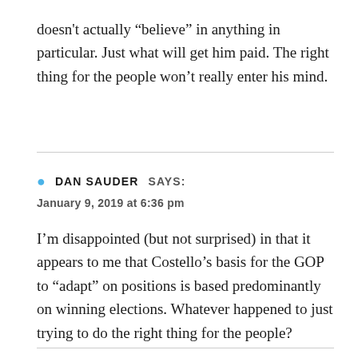doesn't actually “believe” in anything in particular. Just what will get him paid. The right thing for the people won’t really enter his mind.
DAN SAUDER   SAYS:
January 9, 2019 at 6:36 pm
I’m disappointed (but not surprised) in that it appears to me that Costello’s basis for the GOP to “adapt” on positions is based predominantly on winning elections. Whatever happened to just trying to do the right thing for the people?